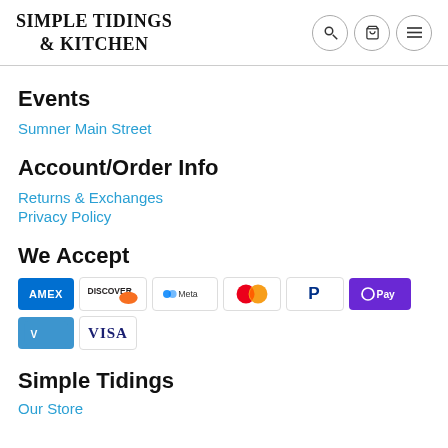SIMPLE TIDINGS & KITCHEN
Events
Sumner Main Street
Account/Order Info
Returns & Exchanges
Privacy Policy
We Accept
[Figure (infographic): Payment method logos: American Express, Discover, Meta Pay, Mastercard, PayPal, OPay, Venmo, Visa]
Simple Tidings
Our Store